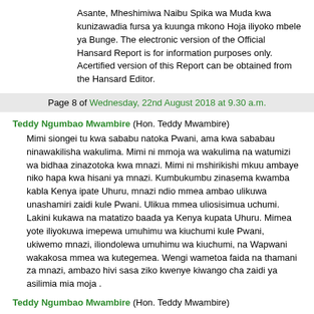Asante, Mheshimiwa Naibu Spika wa Muda kwa kunizawadia fursa ya kuunga mkono Hoja iliyoko mbele ya Bunge. The electronic version of the Official Hansard Report is for information purposes only. Acertified version of this Report can be obtained from the Hansard Editor.
Page 8 of Wednesday, 22nd August 2018 at 9.30 a.m.
Teddy Ngumbao Mwambire (Hon. Teddy Mwambire)
Mimi siongei tu kwa sababu natoka Pwani, ama kwa sababau ninawakilisha wakulima. Mimi ni mmoja wa wakulima na watumizi wa bidhaa zinazotoka kwa mnazi. Mimi ni mshirikishi mkuu ambaye niko hapa kwa hisani ya mnazi. Kumbukumbu zinasema kwamba kabla Kenya ipate Uhuru, mnazi ndio mmea ambao ulikuwa unashamiri zaidi kule Pwani. Ulikua mmea uliosisimua uchumi. Lakini kukawa na matatizo baada ya Kenya kupata Uhuru. Mimea yote iliyokuwa imepewa umuhimu wa kiuchumi kule Pwani, ukiwemo mnazi, iliondolewa umuhimu wa kiuchumi, na Wapwani wakakosa mmea wa kutegemea. Wengi wametoa faida na thamani za mnazi, ambazo hivi sasa ziko kwenye kiwango cha zaidi ya asilimia mia moja .
Teddy Ngumbao Mwambire (Hon. Teddy Mwambire)